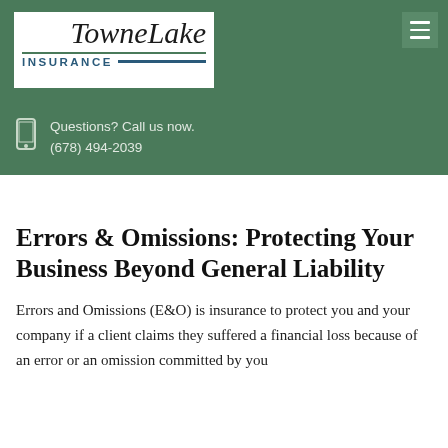[Figure (logo): TowneLake Insurance logo — italic serif 'TowneLake' above bold sans-serif 'INSURANCE' with blue underline]
Questions? Call us now.
(678) 494-2039
Errors & Omissions: Protecting Your Business Beyond General Liability
Errors and Omissions (E&O) is insurance to protect you and your company if a client claims they suffered a financial loss because of an error or an omission committed by you